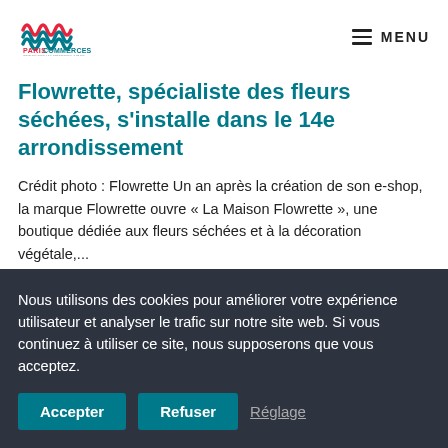PARISCOMMERCES [logo] MENU
Flowrette, spécialiste des fleurs séchées, s'installe dans le 14e arrondissement
Crédit photo : Flowrette Un an après la création de son e-shop, la marque Flowrette ouvre « La Maison Flowrette », une boutique dédiée aux fleurs séchées et à la décoration végétale,...
Nous utilisons des cookies pour améliorer votre expérience utilisateur et analyser le trafic sur notre site web. Si vous continuez à utiliser ce site, nous supposerons que vous acceptez.
Accepter
Refuser
Réglage